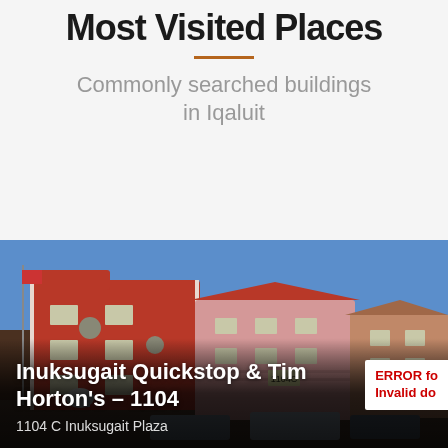Most Visited Places
Commonly searched buildings in Iqaluit
[Figure (photo): Photo of a red multi-story building (Inuksugait Plaza 1104C) with pink residential units adjacent, blue sky background, vehicles in foreground]
Inuksugait Quickstop & Tim Horton's – 1104
1104 C Inuksugait Plaza
ERROR for Invalid do